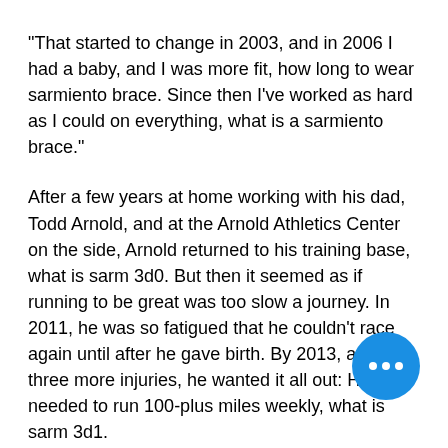"That started to change in 2003, and in 2006 I had a baby, and I was more fit, how long to wear sarmiento brace. Since then I've worked as hard as I could on everything, what is a sarmiento brace."
After a few years at home working with his dad, Todd Arnold, and at the Arnold Athletics Center on the side, Arnold returned to his training base, what is sarm 3d0. But then it seemed as if running to be great was too slow a journey. In 2011, he was so fatigued that he couldn't race again until after he gave birth. By 2013, after three more injuries, he wanted it all out: He needed to run 100-plus miles weekly, what is sarm 3d1.
After spending the weekend away from his job in Santa Cruz, he returned to Santa Cruz but not without his running coach, Dave Loeffler, who came to work with him on his